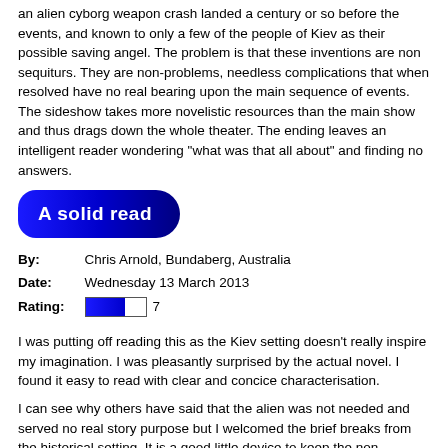an alien cyborg weapon crash landed a century or so before the events, and known to only a few of the people of Kiev as their possible saving angel. The problem is that these inventions are non sequiturs. They are non-problems, needless complications that when resolved have no real bearing upon the main sequence of events. The sideshow takes more novelistic resources than the main show and thus drags down the whole theater. The ending leaves an intelligent reader wondering "what was that all about" and finding no answers.
A solid read
By: Chris Arnold, Bundaberg, Australia
Date: Wednesday 13 March 2013
Rating: 7
I was putting off reading this as the Kiev setting doesn't really inspire my imagination. I was pleasantly surprised by the actual novel. I found it easy to read with clear and concice characterisation.
I can see why others have said that the alien was not needed and served no real story purpose but I welcomed the brief breaks from the historical setting. It is a good little device to keep the non historical readers interested.
The regulars worked well and I only tired of Steven's first person narration right near the end of the story. Overall a nice novel not destined for classic status but nevertheless a worthwhile read.